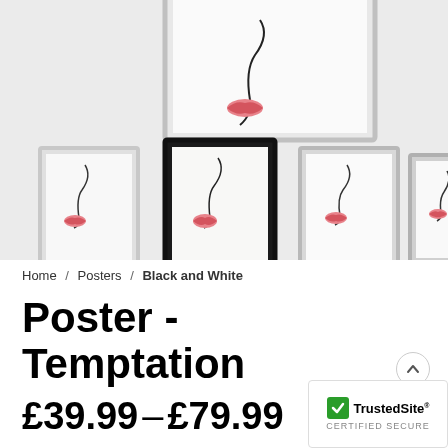[Figure (photo): Product photo showing a line-art poster of a face with pink lips displayed in multiple frame styles (white, black, silver) against a light gray background.]
Home / Posters / Black and White
Poster - Temptation
£39.99 – £79.99
[Figure (logo): TrustedSite CERTIFIED SECURE badge with green checkmark]